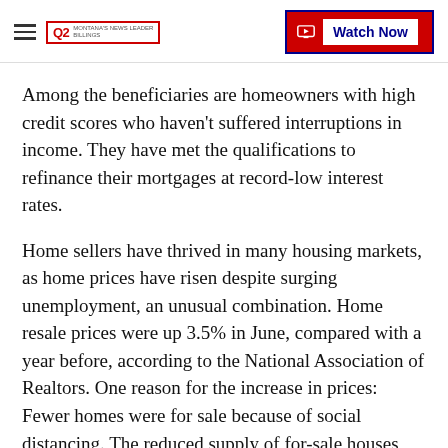Q2 MONTANA'S NEWS LEADER | Watch Now
Among the beneficiaries are homeowners with high credit scores who haven't suffered interruptions in income. They have met the qualifications to refinance their mortgages at record-low interest rates.
Home sellers have thrived in many housing markets, as home prices have risen despite surging unemployment, an unusual combination. Home resale prices were up 3.5% in June, compared with a year before, according to the National Association of Realtors. One reason for the increase in prices: Fewer homes were for sale because of social distancing. The reduced supply of for-sale houses led to increased competition among buyers, pushing prices upward.